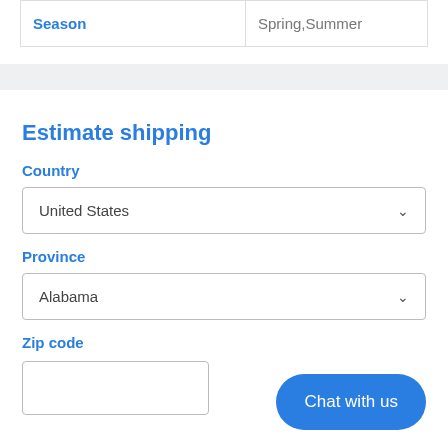| Season | Spring,Summer |
| --- | --- |
| Season | Spring,Summer |
Estimate shipping
Country
United States
Province
Alabama
Zip code
Chat with us